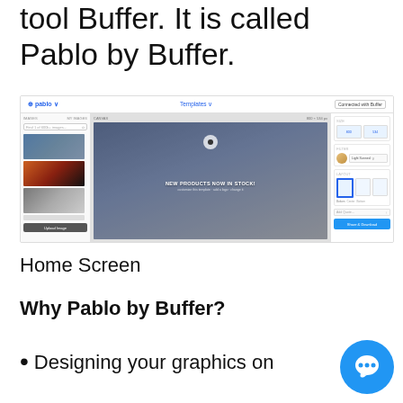tool Buffer. It is called Pablo by Buffer.
[Figure (screenshot): Screenshot of Pablo by Buffer web application showing image editing interface with left panel of stock photos, center canvas with 'NEW PRODUCTS NOW IN STOCK!' text overlay, and right panel with size/filter/layout options]
Home Screen
Why Pablo by Buffer?
Designing your graphics on